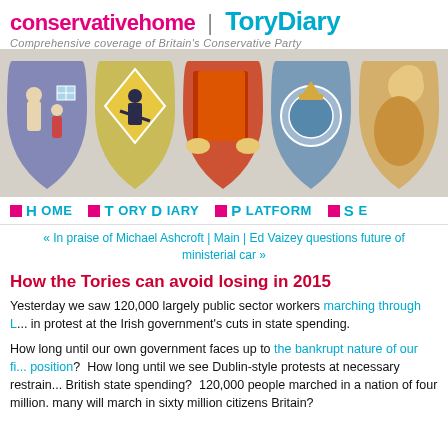conservativehome | ToryDiary — Comprehensive coverage of Britain's Conservative Party
[Figure (illustration): Banner image showing five illustrated shield-shaped icons representing Conservative Party policy themes: family/housing, construction worker, book/education, police badge, and a human figure.]
HOME  TORYDIARY  PLATFORM  SE...
« In praise of Michael Ashcroft | Main | Ed Vaizey questions future of ministerial car »
How the Tories can avoid losing in 2015
Yesterday we saw 120,000 largely public sector workers marching through L... in protest at the Irish government's cuts in state spending.
How long until our own government faces up to the bankrupt nature of our fi... position?  How long until we see Dublin-style protests at necessary restraint... British state spending?  120,000 people marched in a nation of four million. many will march in sixty million citizens Britain?